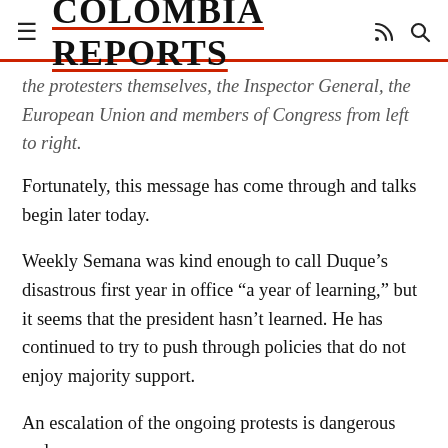COLOMBIA REPORTS
the protesters themselves, the Inspector General, the European Union and members of Congress from left to right.
Fortunately, this message has come through and talks begin later today.
Weekly Semana was kind enough to call Duque’s disastrous first year in office “a year of learning,” but it seems that the president hasn’t learned. He has continued to try to push through policies that do not enjoy majority support.
An escalation of the ongoing protests is dangerous and